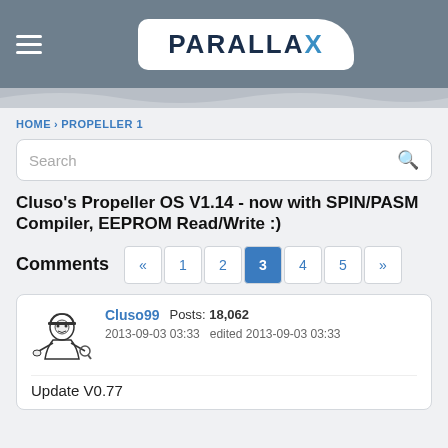PARALLAX
HOME › PROPELLER 1
Search
Cluso's Propeller OS V1.14 - now with SPIN/PASM Compiler, EEPROM Read/Write :)
Comments
Cluso99  Posts: 18,062  2013-09-03 03:33  edited 2013-09-03 03:33
Update V0.77